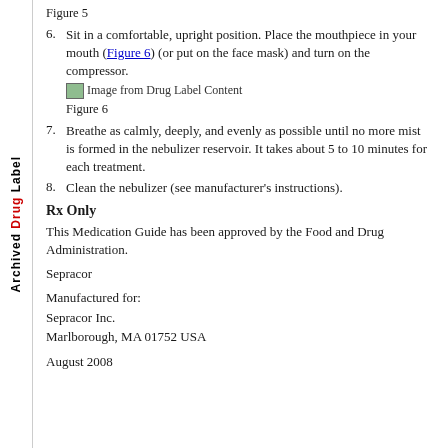Figure 5
6. Sit in a comfortable, upright position. Place the mouthpiece in your mouth (Figure 6) (or put on the face mask) and turn on the compressor. [Image from Drug Label Content]
Figure 6
7. Breathe as calmly, deeply, and evenly as possible until no more mist is formed in the nebulizer reservoir. It takes about 5 to 10 minutes for each treatment.
8. Clean the nebulizer (see manufacturer’s instructions).
Rx Only
This Medication Guide has been approved by the Food and Drug Administration.
Sepracor
Manufactured for:
Sepracor Inc.
Marlborough, MA 01752 USA
August 2008